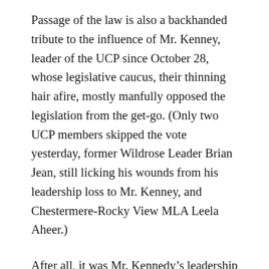Passage of the law is also a backhanded tribute to the influence of Mr. Kenney, leader of the UCP since October 28, whose legislative caucus, their thinning hair afire, mostly manfully opposed the legislation from the get-go. (Only two UCP members skipped the vote yesterday, former Wildrose Leader Brian Jean, still licking his wounds from his leadership loss to Mr. Kenney, and Chestermere-Rocky View MLA Leela Aheer.)
After all, it was Mr. Kennedy’s leadership campaign rhetoric that parents must have a right to know everything thing their children do at school — in particular whether they decide to join a GSA — that resulted in the decision by Education Minister David Eggen and the NDP Caucus to draft the law in the first